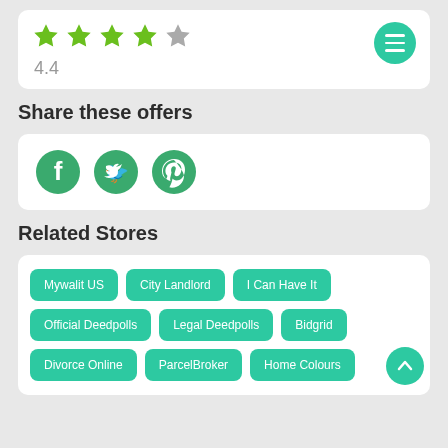[Figure (other): Star rating showing 4.4 out of 5 stars (4 filled green stars, 1 grey star) with a teal hamburger menu button]
4.4
Share these offers
[Figure (other): Social share buttons: Facebook, Twitter, Pinterest - all green circle icons]
Related Stores
Mywalit US
City Landlord
I Can Have It
Official Deedpolls
Legal Deedpolls
Bidgrid
Divorce Online
ParcelBroker
Home Colours